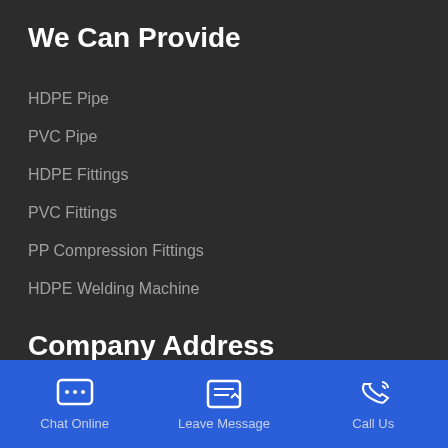We Can Provide
HDPE Pipe
PVC Pipe
HDPE Fittings
PVC Fittings
PP Compression Fittings
HDPE Welding Machine
Company Address
Chat Online   Leave Message   Call Us